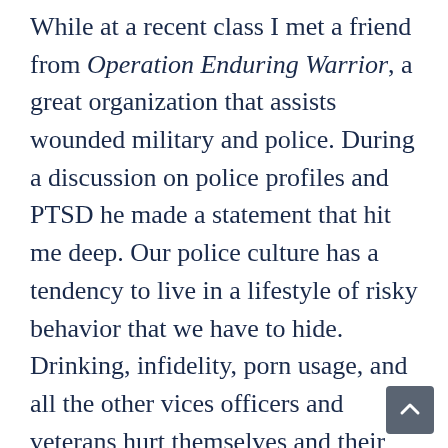While at a recent class I met a friend from Operation Enduring Warrior, a great organization that assists wounded military and police. During a discussion on police profiles and PTSD he made a statement that hit me deep. Our police culture has a tendency to live in a lifestyle of risky behavior that we have to hide. Drinking, infidelity, porn usage, and all the other vices officers and veterans hurt themselves and their families with.
The nature of police work lends itself to seeing the underbelly of society and many times we slip into it. The cumulative stress officers experience can cause